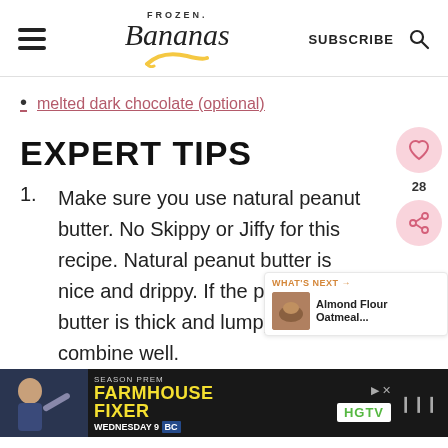Frozen Bananas — SUBSCRIBE
melted dark chocolate (optional)
EXPERT TIPS
1. Make sure you use natural peanut butter. No Skippy or Jiffy for this recipe. Natural peanut butter is nice and drippy. If the peanut butter is thick and lumpy, it will not combine well.
[Figure (other): Ad banner for HGTV Farmhouse Fixer, Season Premiere Wednesday 9 BC]
[Figure (other): Sidebar widgets: heart/save button, share count 28, share button, and What's Next panel showing Almond Flour Oatmeal...]